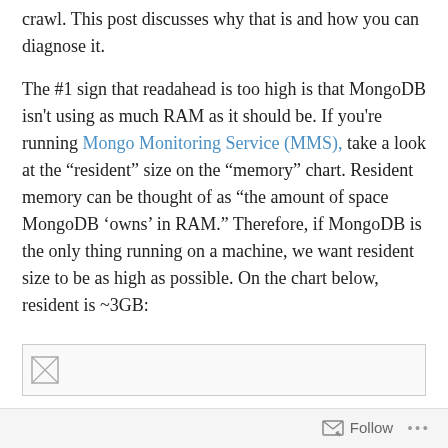crawl. This post discusses why that is and how you can diagnose it.
The #1 sign that readahead is too high is that MongoDB isn't using as much RAM as it should be. If you're running Mongo Monitoring Service (MMS), take a look at the "resident" size on the "memory" chart. Resident memory can be thought of as "the amount of space MongoDB 'owns' in RAM." Therefore, if MongoDB is the only thing running on a machine, we want resident size to be as high as possible. On the chart below, resident is ~3GB:
[Figure (other): Broken image placeholder icon indicating a chart image that failed to load, shown within a bordered rectangle]
Follow ···